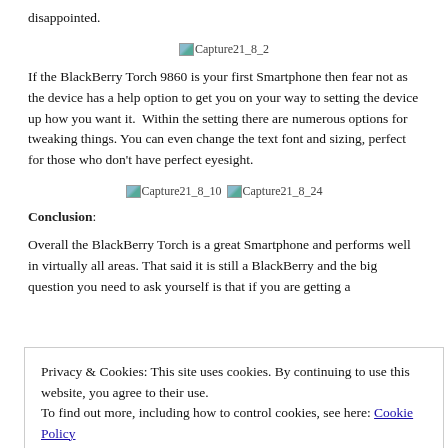iOS and Android so if you are a big gamer you may be a little disappointed.
[Figure (photo): Broken image placeholder labeled Capture21_8_2]
If the BlackBerry Torch 9860 is your first Smartphone then fear not as the device has a help option to get you on your way to setting the device up how you want it. Within the setting there are numerous options for tweaking things. You can even change the text font and sizing, perfect for those who don't have perfect eyesight.
[Figure (photo): Two broken image placeholders labeled Capture21_8_10 and Capture21_8_24]
Conclusion:
Overall the BlackBerry Torch is a great Smartphone and performs well in virtually all areas. That said it is still a BlackBerry and the big question you need to ask yourself is that if you are getting a
Privacy & Cookies: This site uses cookies. By continuing to use this website, you agree to their use.
To find out more, including how to control cookies, see here: Cookie Policy
advantage to using the Torch 9860 over other platforms is BBM